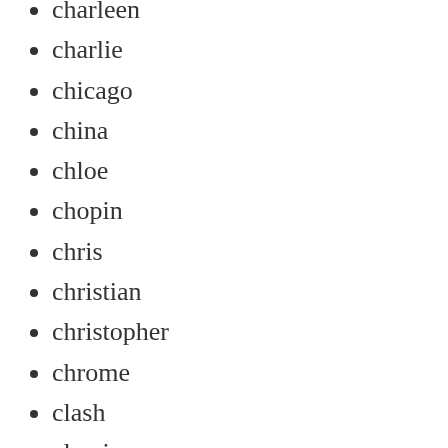charleen
charlie
chicago
china
chloe
chopin
chris
christian
christopher
chrome
clash
classic
clueless
coach
coca
collectors
commemorative
commiphora